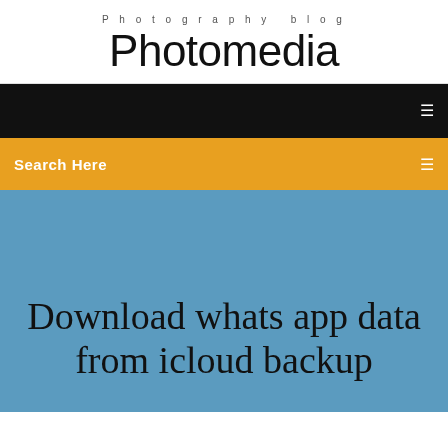Photography blog
Photomedia
[Figure (screenshot): Black navigation bar with white icon on right]
Search Here
Download whats app data from icloud backup